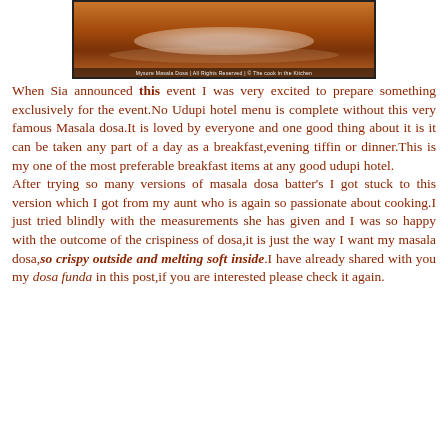[Figure (photo): Photo of Mysore Masala Dosa on a white plate with a watermark/caption at the bottom reading 'Mysore Masala Dosa | All Rights Reserved | © The cook in the Kitchen']
When Sia announced this event I was very excited to prepare something exclusively for the event.No Udupi hotel menu is complete without this very famous Masala dosa.It is loved by everyone and one good thing about it is it can be taken any part of a day as a breakfast,evening tiffin or dinner.This is my one of the most preferable breakfast items at any good udupi hotel.
After trying so many versions of masala dosa batter's I got stuck to this version which I got from my aunt who is again so passionate about cooking.I just tried blindly with the measurements she has given and I was so happy with the outcome of the crispiness of dosa,it is just the way I want my masala dosa,so crispy outside and melting soft inside.I have already shared with you my dosa funda in this post,if you are interested please check it again.